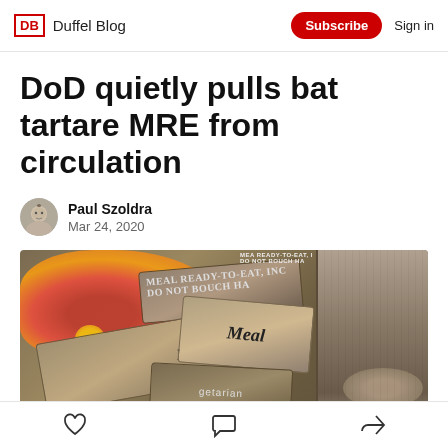DB Duffel Blog | Subscribe | Sign in
DoD quietly pulls bat tartare MRE from circulation
Paul Szoldra
Mar 24, 2020
[Figure (photo): Composite photo showing MRE (Meal Ready-to-Eat) military food packages with text 'Meal', 'Ready-to-Eat', 'Vegetarian' visible on packaging, alongside what appears to be steak tartare with egg yolk on a plate, and a bat visible on the right side of the image.]